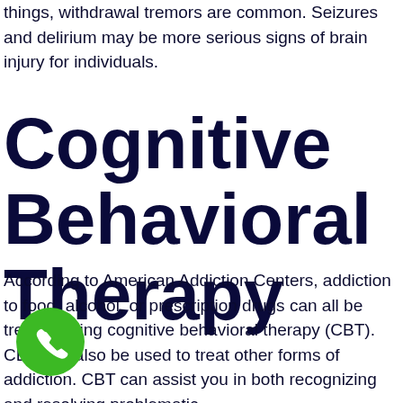things, withdrawal tremors are common. Seizures and delirium may be more serious signs of brain injury for individuals.
Cognitive Behavioral Therapy
According to American Addiction Centers, addiction to food, alcohol, or prescription drugs can all be treated using cognitive behavioral therapy (CBT). CBT can also be used to treat other forms of addiction. CBT can assist you in both recognizing and resolving problematic